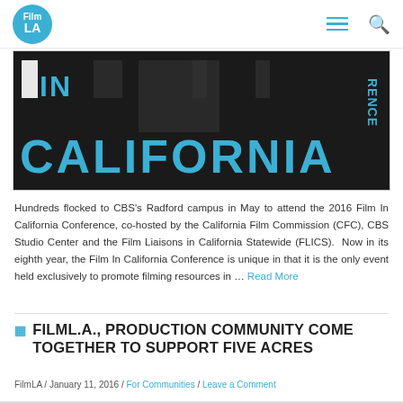Film LA — navigation header with logo, hamburger menu, and search icon
[Figure (photo): Dark banner image with large cyan text reading 'IN CALIFORNIA' and partial text 'RENCE' on the right side, against a black background — promotional graphic for the Film In California Conference]
Hundreds flocked to CBS's Radford campus in May to attend the 2016 Film In California Conference, co-hosted by the California Film Commission (CFC), CBS Studio Center and the Film Liaisons in California Statewide (FLICS). Now in its eighth year, the Film In California Conference is unique in that it is the only event held exclusively to promote filming resources in … Read More
FILML.A., PRODUCTION COMMUNITY COME TOGETHER TO SUPPORT FIVE ACRES
FilmLA / January 11, 2016 / For Communities / Leave a Comment